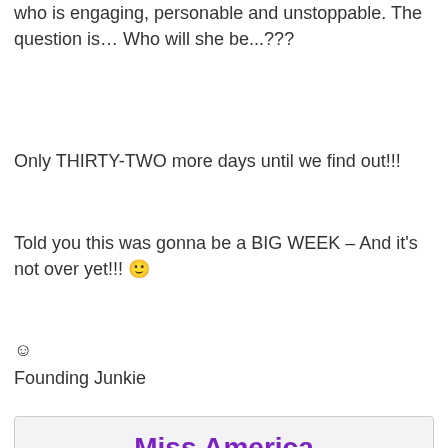who is engaging, personable and unstoppable. The question is… Who will she be...???
Only THIRTY-TWO more days until we find out!!!
Told you this was gonna be a BIG WEEK – And it's not over yet!!! 🙂
☺
Founding Junkie
Miss America Predictions!
Thousands of us are #HopelesslyAddicted to pageantry.
Name | Email